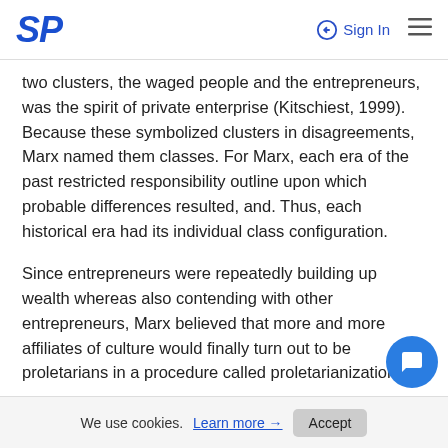SP  Sign In
two clusters, the waged people and the entrepreneurs, was the spirit of private enterprise (Kitschiest, 1999). Because these symbolized clusters in disagreements, Marx named them classes. For Marx, each era of the past restricted responsibility outline upon which probable differences resulted, and. Thus, each historical era had its individual class configuration.
Since entrepreneurs were repeatedly building up wealth whereas also contending with other entrepreneurs, Marx believed that more and more affiliates of culture would finally turn out to be proletarians in a procedure called proletarianization.
Culture would then be distinguished by an enormously little figure of entrepreneurs utilizing a large number of
We use cookies. Learn more → Accept